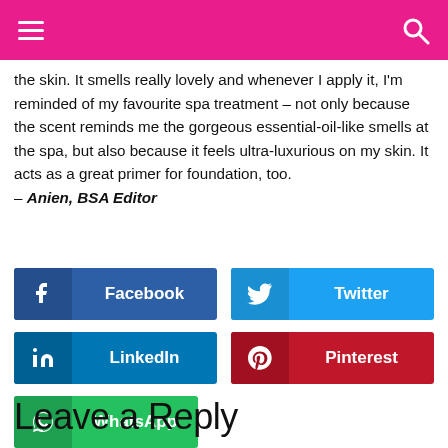the skin. It smells really lovely and whenever I apply it, I'm reminded of my favourite spa treatment – not only because the scent reminds me the gorgeous essential-oil-like smells at the spa, but also because it feels ultra-luxurious on my skin. It acts as a great primer for foundation, too.
– Anien, BSA Editor
[Figure (infographic): Social share buttons: Facebook, Twitter, LinkedIn, Pinterest, WhatsApp]
Leave a Reply